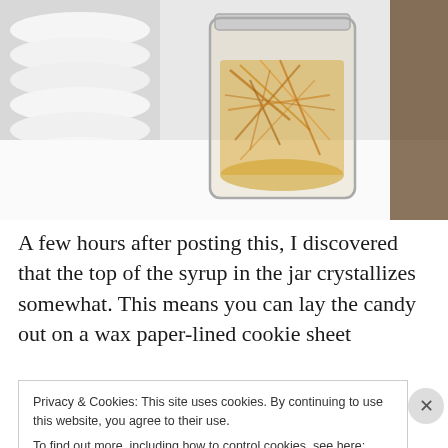[Figure (photo): A glass mason jar containing what appears to be crystallized or candied syrup with golden-amber strands, sitting on a white surface with white ribbed bowls in the background.]
A few hours after posting this, I discovered that the top of the syrup in the jar crystallizes somewhat. This means you can lay the candy out on a wax paper-lined cookie sheet
Privacy & Cookies: This site uses cookies. By continuing to use this website, you agree to their use.
To find out more, including how to control cookies, see here: Cookie Policy